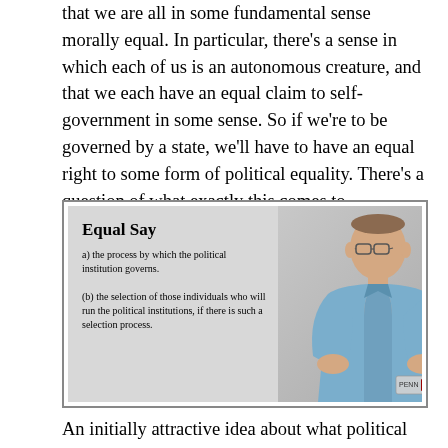that we are all in some fundamental sense morally equal. In particular, there's a sense in which each of us is an autonomous creature, and that we each have an equal claim to self-government in some sense. So if we're to be governed by a state, we'll have to have an equal right to some form of political equality. There's a question of what exactly this comes to.
[Figure (screenshot): A lecture slide showing a man in a blue shirt presenting. The slide reads: 'Equal Say a) the process by which the political institution governs. (b) the selection of those individuals who will run the political institutions, if there is such a selection process.' A small Penn/Harvard badge is visible in the lower right.]
An initially attractive idea about what political equality requires is equal say. Each person in a political jurisdiction, should be given an equal say in. A, the